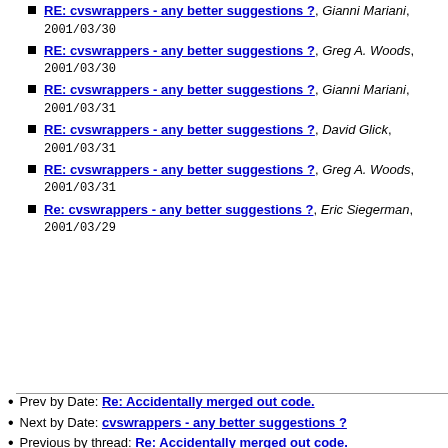RE: cvswrappers - any better suggestions ?, Gianni Mariani, 2001/03/30
RE: cvswrappers - any better suggestions ?, Greg A. Woods, 2001/03/30
RE: cvswrappers - any better suggestions ?, Gianni Mariani, 2001/03/31
RE: cvswrappers - any better suggestions ?, David Glick, 2001/03/31
RE: cvswrappers - any better suggestions ?, Greg A. Woods, 2001/03/31
Re: cvswrappers - any better suggestions ?, Eric Siegerman, 2001/03/29
Prev by Date: Re: Accidentally merged out code.
Next by Date: cvswrappers - any better suggestions ?
Previous by thread: Re: Accidentally merged out code.
Next by thread: cvswrappers - any better suggestions ?